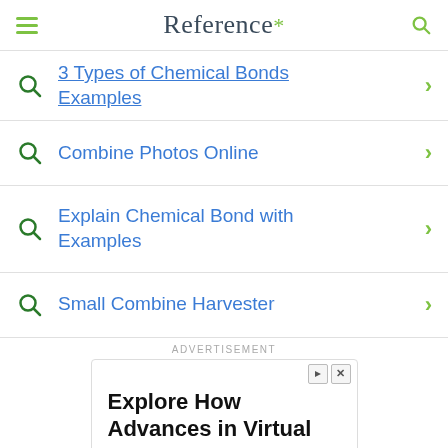Reference*
3 Types of Chemical Bonds Examples
Combine Photos Online
Explain Chemical Bond with Examples
Small Combine Harvester
ADVERTISEMENT
[Figure (screenshot): Advertisement banner: 'Explore How Advances in Virtual Leasing Drive More Renewals' with teal circular graphic and person photo]